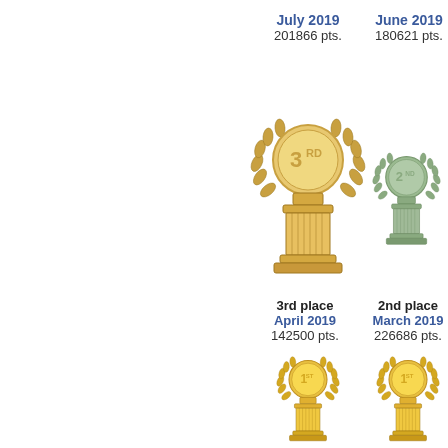July 2019
201866 pts.
June 2019
180621 pts.
[Figure (illustration): 3rd place bronze trophy with laurel wreath]
[Figure (illustration): 2nd place silver/green trophy with laurel wreath]
3rd place
April 2019
142500 pts.
2nd place
March 2019
226686 pts.
[Figure (illustration): 1st place gold trophy with laurel wreath (left)]
[Figure (illustration): 1st place gold trophy with laurel wreath (right)]